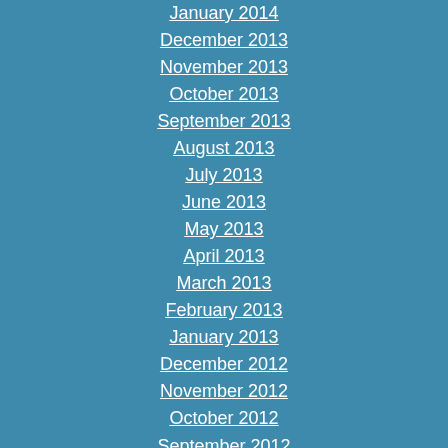January 2014
December 2013
November 2013
October 2013
September 2013
August 2013
July 2013
June 2013
May 2013
April 2013
March 2013
February 2013
January 2013
December 2012
November 2012
October 2012
September 2012
August 2012
July 2012
June 2012
May 2012
April 2012